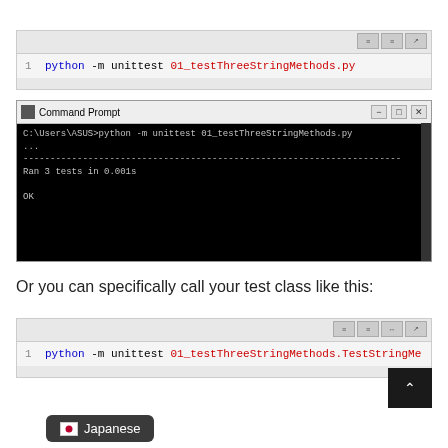[Figure (screenshot): Code editor snippet showing: 1  python -m unittest 01_testThreeStringMethods.py]
[Figure (screenshot): Windows Command Prompt showing output of running python -m unittest 01_testThreeStringMethods.py — displays '...', dashed line, 'Ran 3 tests in 0.001s', 'OK']
Or you can specifically call your test class like this:
[Figure (screenshot): Code editor snippet showing: 1  python -m unittest 01_testThreeStringMethods.TestStringM...]
[Figure (screenshot): Dark scroll-up button]
[Figure (screenshot): Language selector pill showing Japanese flag and 'Japanese' text]